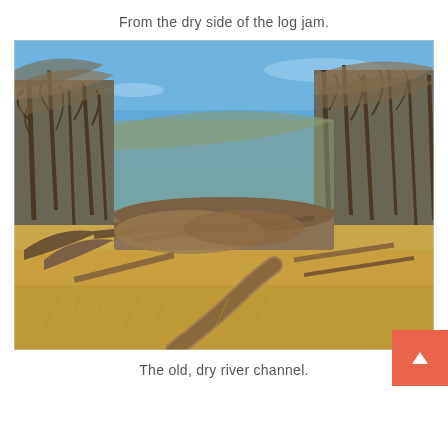From the dry side of the log jam.
[Figure (photo): Outdoor photograph showing a dry river channel from the dry side of a log jam. The scene features bare leafless trees in winter under a clear blue sky, with piles of driftwood and logs scattered across dried golden grass. A prominent fallen log lies diagonally in the foreground.]
The old, dry river channel.